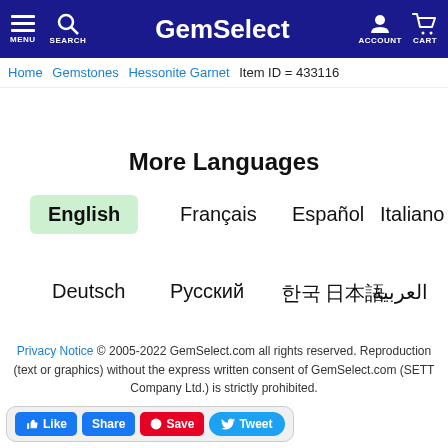MENU | SEARCH | GemSelect | ACCOUNT | CART
Home > Gemstones > Hessonite Garnet > Item ID = 433116
More Languages
English
Français
Español
Italiano
Deutsch
Русский
한국어
日本語
العربية
Privacy Notice © 2005-2022 GemSelect.com all rights reserved. Reproduction (text or graphics) without the express written consent of GemSelect.com (SETT Company Ltd.) is strictly prohibited.